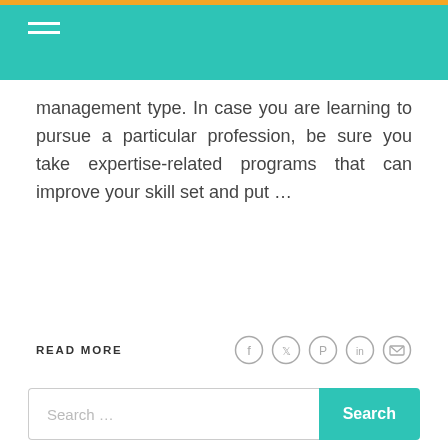management type. In case you are learning to pursue a particular profession, be sure you take expertise-related programs that can improve your skill set and put …
READ MORE
[Figure (other): Social share icons: Facebook, Twitter, Pinterest, LinkedIn, Email]
Search …
Archives
August 2022